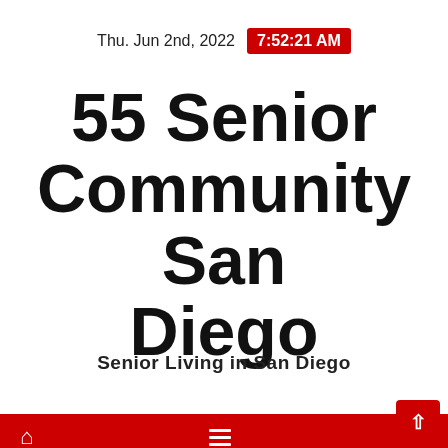Thu. Jun 2nd, 2022  7:52:21 AM
55 Senior Community San Diego
Senior Living in San Diego
[Figure (screenshot): Red navigation bar with home icon on left and hamburger menu icon in center]